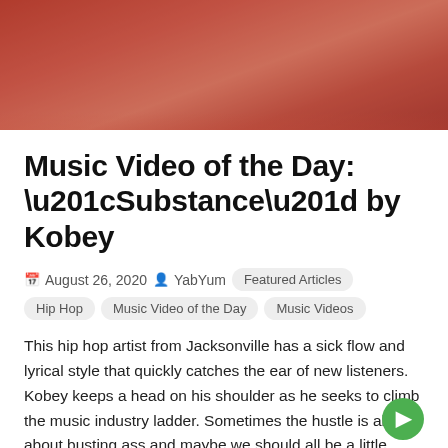[Figure (photo): Hero image with reddish-pink toned photo background, appears to show people in a kitchen or industrial setting with an orange-red color overlay]
Music Video of the Day: “Substance” by Kobey
August 26, 2020   YabYum   Featured Articles   Hip Hop   Music Video of the Day   Music Videos
This hip hop artist from Jacksonville has a sick flow and lyrical style that quickly catches the ear of new listeners. Kobey keeps a head on his shoulder as he seeks to climb the music industry ladder. Sometimes the hustle is all about busting ass and maybe we should all be a little more real about what that looks like…